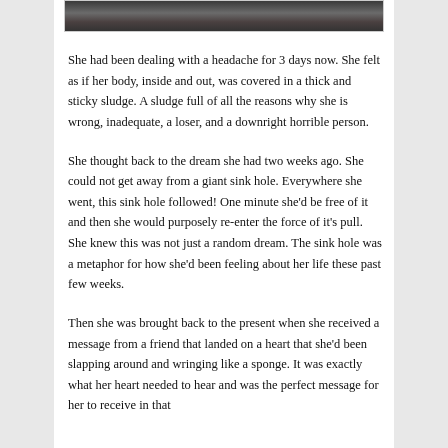[Figure (photo): A dark photograph, partially visible at the top of the page, showing a dark landscape or scene.]
She had been dealing with a headache for 3 days now. She felt as if her body, inside and out, was covered in a thick and sticky sludge. A sludge full of all the reasons why she is wrong, inadequate, a loser, and a downright horrible person.
She thought back to the dream she had two weeks ago. She could not get away from a giant sink hole. Everywhere she went, this sink hole followed! One minute she'd be free of it and then she would purposely re-enter the force of it's pull. She knew this was not just a random dream. The sink hole was a metaphor for how she'd been feeling about her life these past few weeks.
Then she was brought back to the present when she received a message from a friend that landed on a heart that she'd been slapping around and wringing like a sponge. It was exactly what her heart needed to hear and was the perfect message for her to receive in that